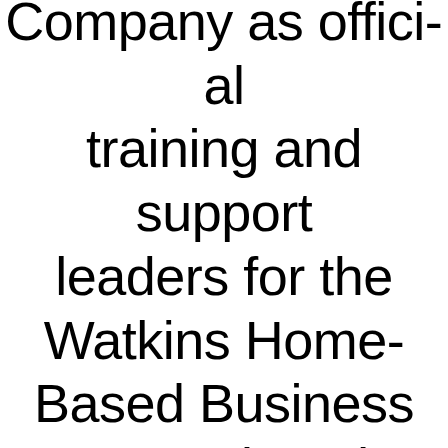Company as official training and support leaders for the Watkins Home-Based Business opportunity, who have published this website as a free business building